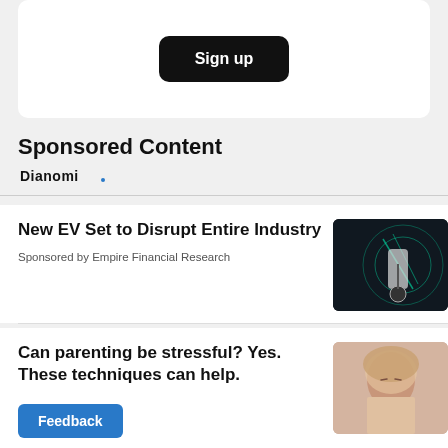Sign up
Sponsored Content
[Figure (logo): Dianomi logo text]
New EV Set to Disrupt Entire Industry
Sponsored by Empire Financial Research
[Figure (photo): Electric vehicle charging station with green glowing cables and futuristic background]
Can parenting be stressful? Yes. These techniques can help.
[Figure (photo): Woman with eyes closed in peaceful expression, soft pink/neutral background]
Feedback